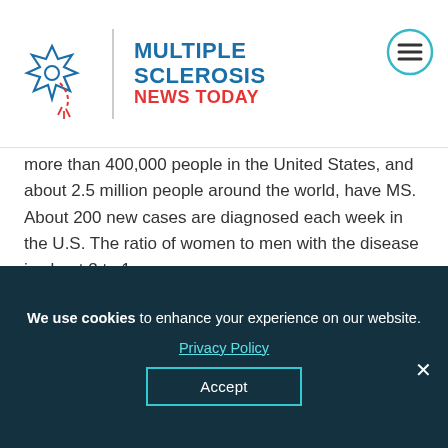[Figure (logo): Multiple Sclerosis News Today logo with neuron icon, blue divider, and text]
more than 400,000 people in the United States, and about 2.5 million people around the world, have MS. About 200 new cases are diagnosed each week in the U.S. The ratio of women to men with the disease is about 2 to 1.
Advertisement
[Figure (other): Advertisement placeholder with light grey pattern]
We use cookies to enhance your experience on our website. Privacy Policy Accept